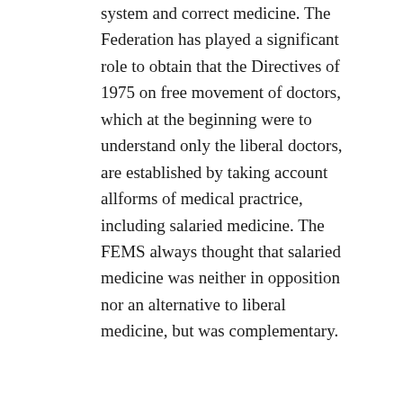system and correct medicine. The Federation has played a significant role to obtain that the Directives of 1975 on free movement of doctors, which at the beginning were to understand only the liberal doctors, are established by taking account allforms of medical practrice, including salaried medicine. The FEMS always thought that salaried medicine was neither in opposition nor an alternative to liberal medicine, but was complementary.